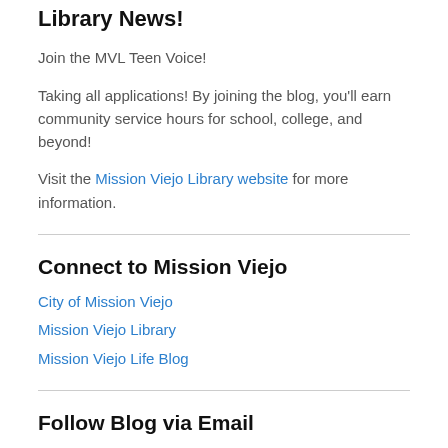Library News!
Join the MVL Teen Voice!
Taking all applications! By joining the blog, you'll earn community service hours for school, college, and beyond!
Visit the Mission Viejo Library website for more information.
Connect to Mission Viejo
City of Mission Viejo
Mission Viejo Library
Mission Viejo Life Blog
Follow Blog via Email
Enter your email address to follow this blog and receive email notifications about new posts.